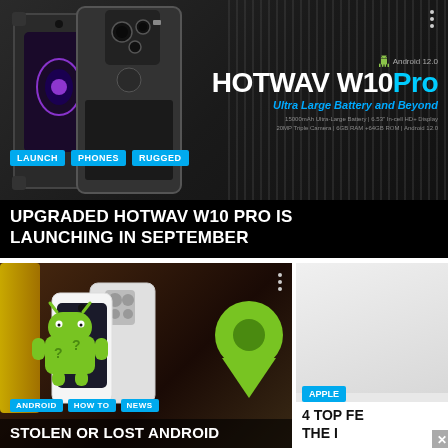[Figure (screenshot): HOTWAV W10 Pro rugged smartphone promotional image with two phones shown, Android 12.0 badge, tagline 'Ultra Large Battery and Beyond']
LAUNCH
PHONES
RUGGED
UPGRADED HOTWAV W10 PRO IS LAUNCHING IN SEPTEMBER
[Figure (screenshot): Android mascot with question marks on stolen/lost Android phone article thumbnail with multiple phones shown and a location pin]
ANDROID
HOW TO
NEWS
STOLEN OR LOST ANDROID
[Figure (screenshot): Partially visible article with APPLE tag and title starting with '4 TOP F... THE I...']
APPLE
4 TOP FE... THE I...